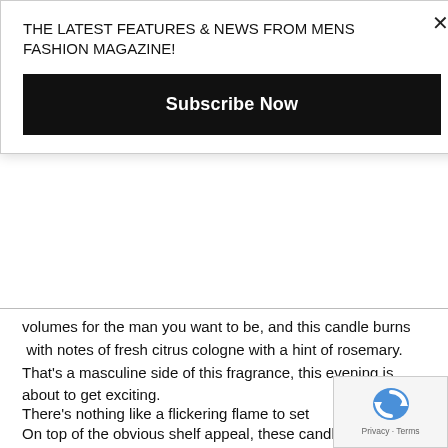THE LATEST FEATURES & NEWS FROM MENS FASHION MAGAZINE!
[Figure (other): Subscribe Now button — black rectangle with white bold text]
volumes for the man you want to be, and this candle burns  with notes of fresh citrus cologne with a hint of rosemary. That's a masculine side of this fragrance, this evening is about to get exciting.
On top of the obvious shelf appeal, these candles for Lab Candles are fragrant winners are out to impress when it comes to the intensity of scent and burn time too.
There's nothing like a flickering flame to set the mood at h
[Figure (other): reCAPTCHA badge with Privacy - Terms text]